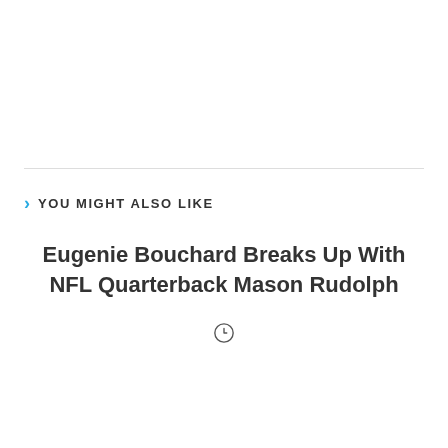YOU MIGHT ALSO LIKE
Eugenie Bouchard Breaks Up With NFL Quarterback Mason Rudolph